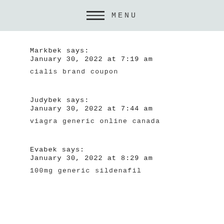≡ MENU
Markbek says:
January 30, 2022 at 7:19 am

cialis brand coupon
Judybek says:
January 30, 2022 at 7:44 am

viagra generic online canada
Evabek says:
January 30, 2022 at 8:29 am

100mg generic sildenafil